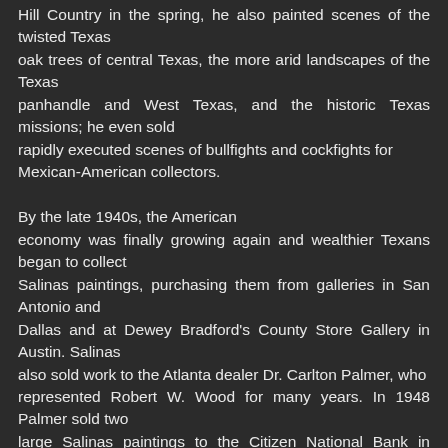Hill Country in the spring, he also painted scenes of the twisted Texas oak trees of central Texas, the more arid landscapes of the Texas panhandle and West Texas, and the historic Texas missions; he even sold rapidly executed scenes of bullfights and cockfights for Mexican-American collectors.

By the late 1940s, the American economy was finally growing again and wealthier Texans began to collect Salinas paintings, purchasing them from galleries in San Antonio and Dallas and at Dewey Bradford's County Store Gallery in Austin. Salinas also sold work to the Atlanta dealer Dr. Carlton Palmer, who represented Robert W. Wood for many years. In 1948 Palmer sold two large Salinas paintings to the Citizen National Bank in Abilene, Texas. Because Austin was the state capitol, Bradford counted many of the state's elite among his patrons, and due to his interest in history and literature, he played a large role in the cultural history of central